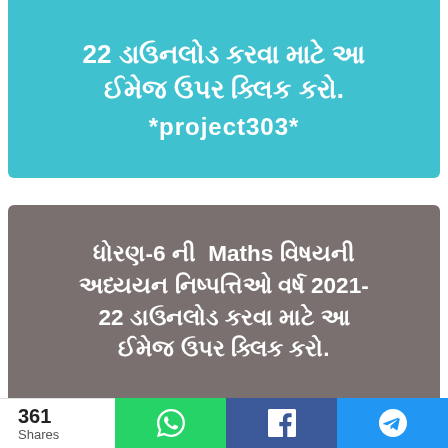22 ડાઉનલોડ કરવા માટે આ ઈમેજ ઉપર ક્લિક કરો. *project303*
ધોરણ-6 ની Maths વિષયની અધ્યયન નિષ્પત્તિઓ વર્ષ 2021-22 ડાઉનલોડ કરવા માટે આ ઈમેજ ઉપર ક્લિક કરો.
361 Shares